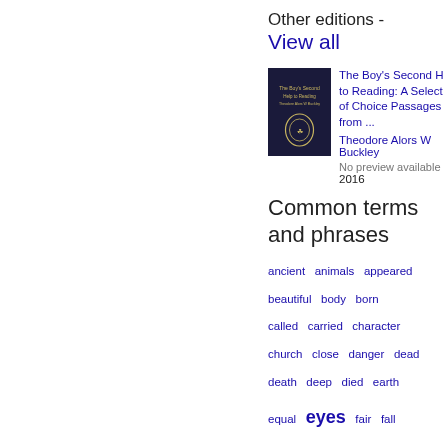Other editions -
View all
[Figure (illustration): Book cover of The Boy's Second Help to Reading, dark navy cover with decorative wreath emblem]
The Boy's Second Help to Reading: A Select of Choice Passages from ...
Theodore Alors W Buckley
No preview available
2016
Common terms and phrases
ancient  animals  appeared  beautiful  body  born  called  carried  character  church  close  danger  dead  death  deep  died  earth  equal  eyes  fair  fall